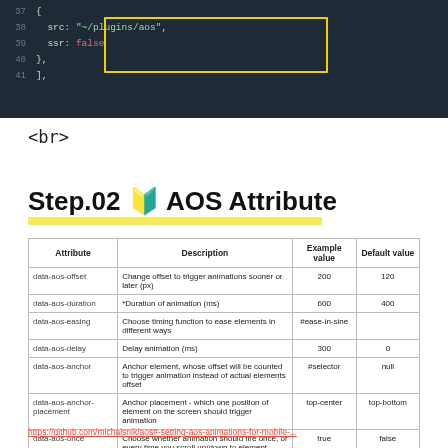[Figure (screenshot): Code editor screenshot showing JavaScript config with lines 37-41, including src: '~/plugins/aos' and ssr: false highlighted in a yellow box on dark background]
<br>
Step.02 🔰 AOS Attribute
| Attribute | Description | Example value | Default value |
| --- | --- | --- | --- |
| data-aos-offset | Change offset to trigger animations sooner or later (px) | 200 | 120 |
| data-aos-duration | *Duration of animation (ms) | 600 | 400 |
| data-aos-easing | Choose timing function to ease elements in different ways | #ease-in-sine |  |
| data-aos-delay | Delay animation (ms) | 300 | 0 |
| data-aos-anchor | Anchor element, whose offset will be counted to trigger animation instead of actual elements offset | #selector | null |
| data-aos-anchor-placement | Anchor placement - which one position of element on the screen should trigger animation | top-center | top-bottom |
| data-aos-once | Choose whether animation should fire once, or every time you scroll up/down to element | true | false |
https://github.com/michalsnik/aos#-setting-aos-animations-for-mobile-...